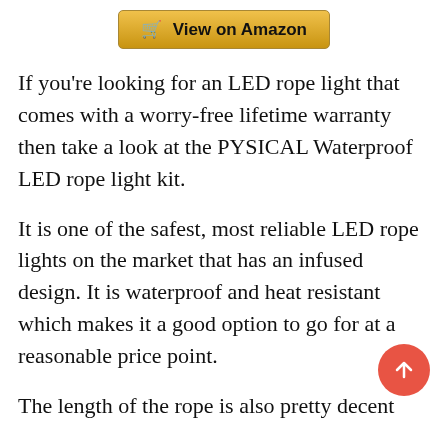[Figure (other): View on Amazon button with shopping cart icon and golden/yellow background]
If you're looking for an LED rope light that comes with a worry-free lifetime warranty then take a look at the PYSICAL Waterproof LED rope light kit.
It is one of the safest, most reliable LED rope lights on the market that has an infused design. It is waterproof and heat resistant which makes it a good option to go for at a reasonable price point.
The length of the rope is also pretty decent